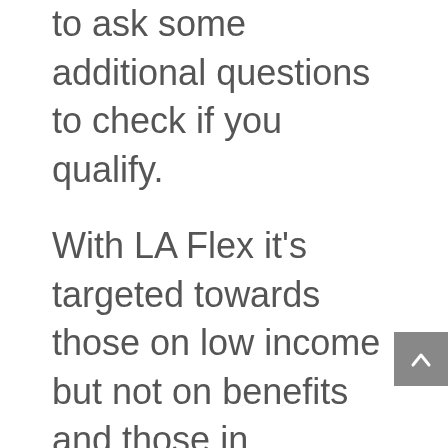to ask some additional questions to check if you qualify.
With LA Flex it's targeted towards those on low income but not on benefits and those in situations in life where living in a cold home could make things worse. This would include the elderly, pregnant women or those with a young child (under 5) and those with medical conditions that are worsened by cold